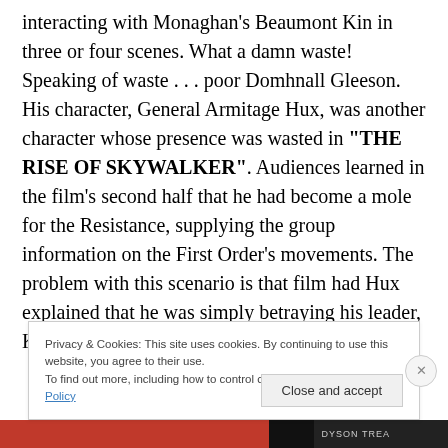interacting with Monaghan's Beaumont Kin in three or four scenes. What a damn waste! Speaking of waste . . . poor Domhnall Gleeson. His character, General Armitage Hux, was another character whose presence was wasted in "THE RISE OF SKYWALKER". Audiences learned in the film's second half that he had become a mole for the Resistance, supplying the group information on the First Order's movements. The problem with this scenario is that film had Hux explained that he was simply betraying his leader, Kylo Ren. But his reason for this betrayal was
Privacy & Cookies: This site uses cookies. By continuing to use this website, you agree to their use.
To find out more, including how to control cookies, see here: Cookie Policy